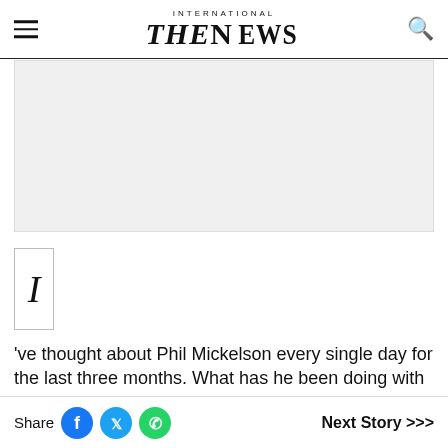INTERNATIONAL THE NEWS
[Figure (other): Advertisement or image placeholder area (light gray rectangle)]
[Figure (other): Drop cap letter I in a bordered box]
've thought about Phil Mickelson every single day for the last three months. What has he been doing with his time? What has he been feeling? Shame, regret, rage, humility,
Share  Next Story >>>